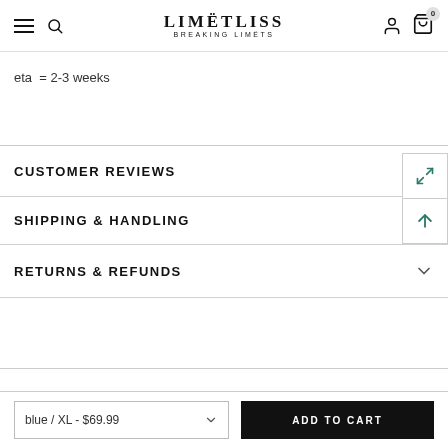LIMËTLISS BREAKING LIMËTS
eta = 2-3 weeks
CUSTOMER REVIEWS
SHIPPING & HANDLING
RETURNS & REFUNDS
blue / XL - $69.99
ADD TO CART